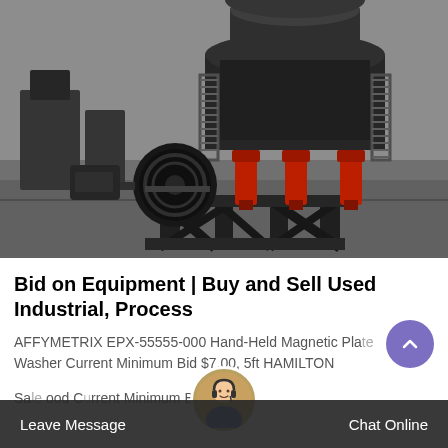[Figure (photo): Large industrial cone crusher machine in a factory/warehouse setting. The machine is predominantly black with red hydraulic cylinders visible. It sits on a heavy steel frame structure. Background shows a large industrial space with more machinery visible.]
Bid on Equipment | Buy and Sell Used Industrial, Process
AFFYMETRIX EPX-55555-000 Hand-Held Magnetic Plate Washer Current Minimum Bid $7.00, 5ft HAMILTON Sale Hood Current Minimum Bid...
Leave Message   Chat Online